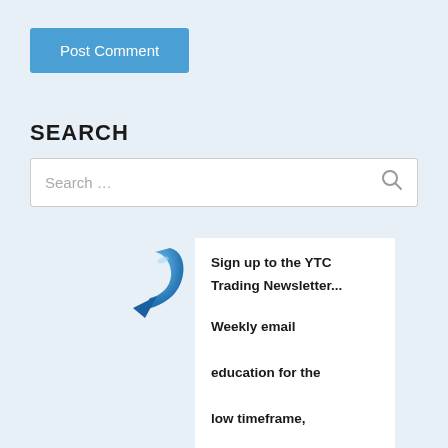Post Comment
SEARCH
Search …
[Figure (illustration): Blue curved arrow pointing down-right]
Sign up to the YTC Trading Newsletter...

Weekly email education for the low timeframe, discretionary, price action trader...